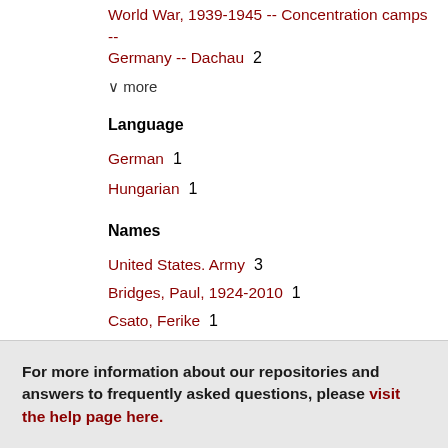World War, 1939-1945 -- Concentration camps -- Germany -- Dachau  2
v more
Language
German  1
Hungarian  1
Names
United States. Army  3
Bridges, Paul, 1924-2010  1
Csato, Ferike  1
Hudson, Carey Lee  1
Kaufering (Concentration camp)  1
v more
For more information about our repositories and answers to frequently asked questions, please visit the help page here.